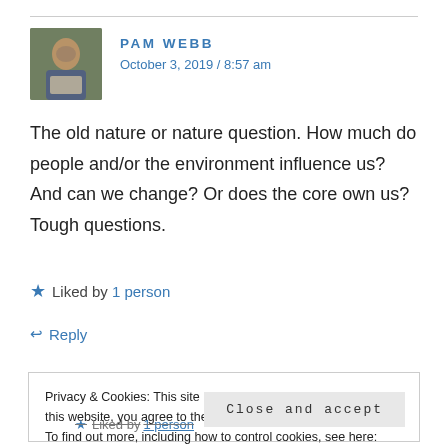[Figure (photo): Avatar photo of Pam Webb, person reading a book]
PAM WEBB
October 3, 2019 / 8:57 am
The old nature or nature question. How much do people and/or the environment influence us? And can we change? Or does the core own us? Tough questions.
★ Liked by 1 person
↩ Reply
Privacy & Cookies: This site uses cookies. By continuing to use this website, you agree to their use.
To find out more, including how to control cookies, see here: Cookie Policy
Close and accept
★ Liked by 1 person